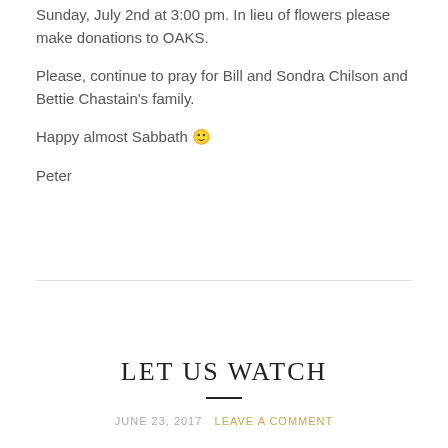Sunday, July 2nd at 3:00 pm. In lieu of flowers please make donations to OAKS.
Please, continue to pray for Bill and Sondra Chilson and Bettie Chastain's family.
Happy almost Sabbath 🙂
Peter
LET US WATCH
JUNE 23, 2017   LEAVE A COMMENT